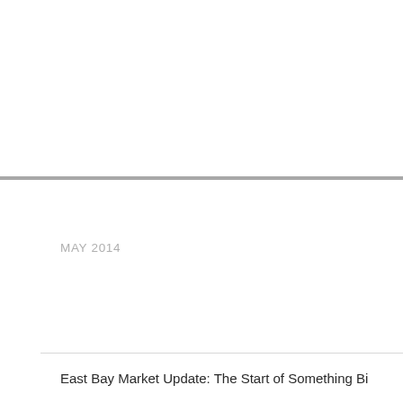MAY 2014
East Bay Market Update: The Start of Something Bi